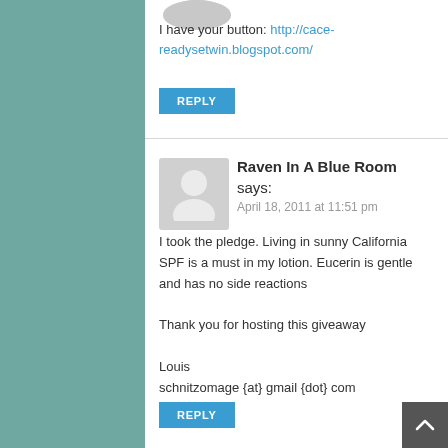I have your button: http://cace-readysetwin.blogspot.com/
REPLY
Raven In A Blue Room says:
April 18, 2011 at 11:51 pm
I took the pledge. Living in sunny California SPF is a must in my lotion. Eucerin is gentle and has no side reactions

Thank you for hosting this giveaway

Louis
schnitzomage {at} gmail {dot} com
REPLY